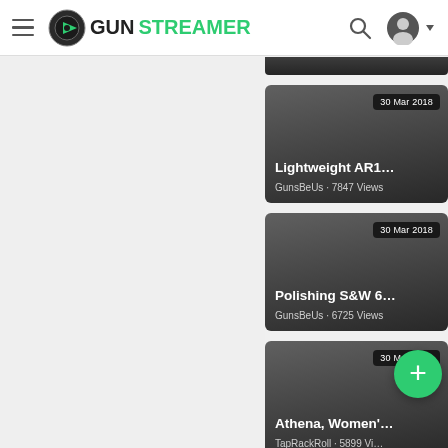[Figure (screenshot): GunStreamer website header with hamburger menu, logo, search icon, and account icon]
[Figure (screenshot): Partial top of a dark video thumbnail card at the top of right panel]
Lightweight AR1…
GunsBeUs · 7847 Views
30 Mar 2018
Polishing S&W 6…
GunsBeUs · 6725 Views
30 Mar 2018
Athena, Women'…
TapRackRoll · 5899 Views
30 Mar 2018
30 Mar 2018 (bottom partial card)